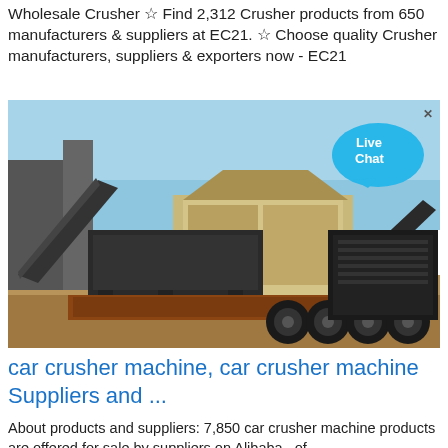Wholesale Crusher ☆ Find 2,312 Crusher products from 650 manufacturers & suppliers at EC21. ☆ Choose quality Crusher manufacturers, suppliers & exporters now - EC21
[Figure (photo): A mobile crusher machine on a flatbed truck at a construction/mining site with blue sky in the background. A 'Live Chat' speech bubble overlay is visible in the top-right corner of the image with an 'x' close button.]
car crusher machine, car crusher machine Suppliers and ...
About products and suppliers: 7,850 car crusher machine products are offered for sale by suppliers on Alibaba , of